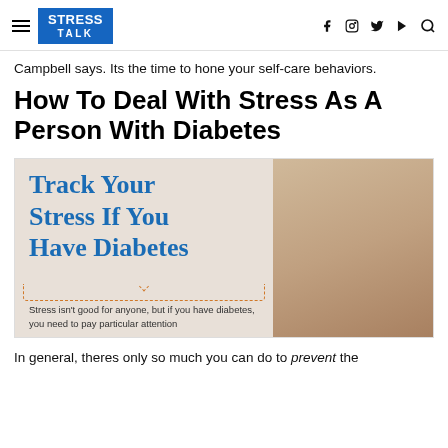STRESS TALK
Campbell says. Its the time to hone your self-care behaviors.
How To Deal With Stress As A Person With Diabetes
[Figure (illustration): Image with text overlay reading 'Track Your Stress If You Have Diabetes' with subtitle 'Stress isn't good for anyone, but if you have diabetes, you need to pay particular attention'. Background shows a person touching their neck/shoulder.]
In general, theres only so much you can do to prevent the the stress...